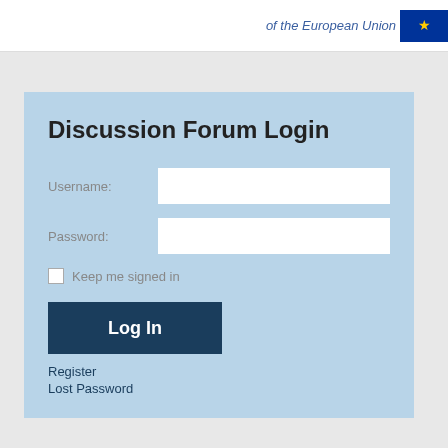of the European Union
Discussion Forum Login
Username:
Password:
Keep me signed in
Log In
Register
Lost Password